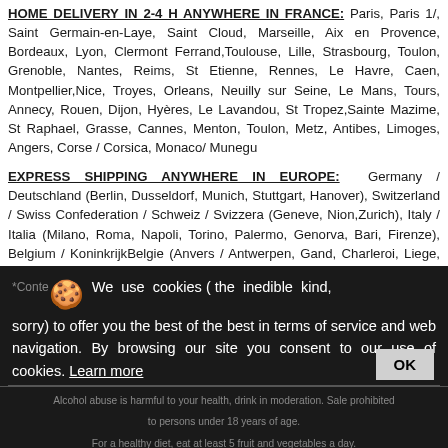HOME DELIVERY IN 2-4 H ANYWHERE IN FRANCE: Paris, Paris 1/, Saint Germain-en-Laye, Saint Cloud, Marseille, Aix en Provence, Bordeaux, Lyon, Clermont Ferrand,Toulouse, Lille, Strasbourg, Toulon, Grenoble, Nantes, Reims, St Etienne, Rennes, Le Havre, Caen, Montpellier,Nice, Troyes, Orleans, Neuilly sur Seine, Le Mans, Tours, Annecy, Rouen, Dijon, Hyères, Le Lavandou, St Tropez,Sainte Mazime, St Raphael, Grasse, Cannes, Menton, Toulon, Metz, Antibes, Limoges, Angers, Corse / Corsica, Monaco/ Munegu
EXPRESS SHIPPING ANYWHERE IN EUROPE: Germany / Deutschland (Berlin, Dusseldorf, Munich, Stuttgart, Hanover), Switzerland / Swiss Confederation / Schweiz / Svizzera (Geneve, Nion,Zurich), Italy / Italia (Milano, Roma, Napoli, Torino, Palermo, Genorva, Bari, Firenze), Belgium / KoninkrijkBelgie (Anvers / Antwerpen, Gand, Charleroi, Liege, Bruxelles, Bruges, Namur, Mons, Louvain), Luxembourg /Luxemburg / Letzebuerg, Netherlands / Nederland, Sweden, Austria / Osterreich, Denmark / Danmark, Ireland / Eire,Portugal / Portuguesa, Finland / Suomen Tasavalta, Norway / Norge / Noreg, Greece / Hellenic Republic, Hungary /Magyar Koztarsasag, Iceland / Island, Poland / Polska, Czech Republic / Ceska Republika, Slovakia / Slovak Republic/ Slovenska , Slovenia, Spain / Espana (Madrid, Barcelona, Valencia, Seville, Zaragoza, Malaga, Murcia, Palma deMallorca, Las Palmas, Bilbao), UK / United Kingdom / Great Britain (London, Birmingham, Liverpool, Mancherster,Leeds, Sheffield, Bristol)
*Conte... We use cookies ( the inedible kind, sorry) to offer you the best of the best in terms of service and web navigation. By browsing our site you consent to our use of cookies. Learn more
Alcohol abuse is harmful to your health, drink in moderation. Sale prohibited to persons under 18 years of age. For a healthy diet, eat at least 5 fruit and vegetables a day.